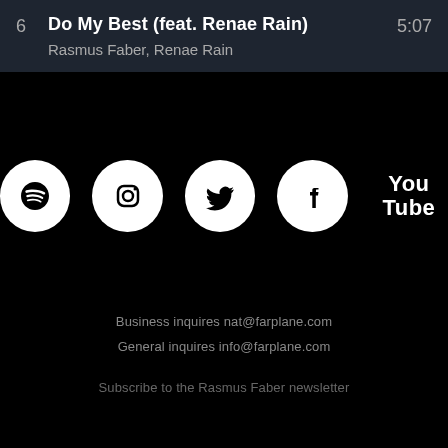6   Do My Best (feat. Renae Rain)   5:07
Rasmus Faber, Renae Rain
[Figure (infographic): Social media icons: Spotify, Instagram, Twitter, Facebook, YouTube]
Business inquires nat@farplane.com
General inquires info@farplane.com
Subscribe to the Rasmus Faber newsletter